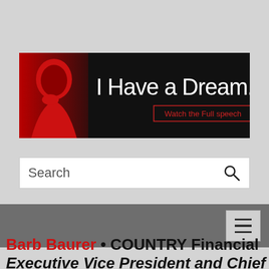[Figure (illustration): Black banner with red MLK portrait silhouette on left, large white text 'I Have a Dream...' and a red-outlined button reading 'Watch the Full speech']
Search
[Figure (infographic): Dark gray navigation bar with a hamburger menu button (three horizontal lines) on the right side]
Barb Baurer • COUNTRY Financial Executive Vice President and Chief